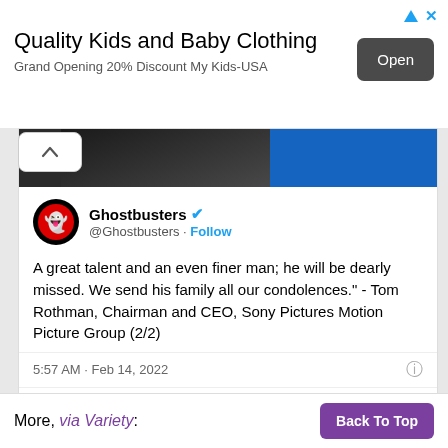[Figure (screenshot): Advertisement banner for Quality Kids and Baby Clothing with Open button]
Quality Kids and Baby Clothing
Grand Opening 20% Discount My Kids-USA
[Figure (screenshot): Ghostbusters Twitter/X post screenshot showing tweet about Tom Rothman quote]
Ghostbusters @Ghostbusters · Follow A great talent and an even finer man; he will be dearly missed. We send his family all our condolences." - Tom Rothman, Chairman and CEO, Sony Pictures Motion Picture Group (2/2) 5:57 AM · Feb 14, 2022 ♡ 2.1K Reply Copy link
More, via Variety: